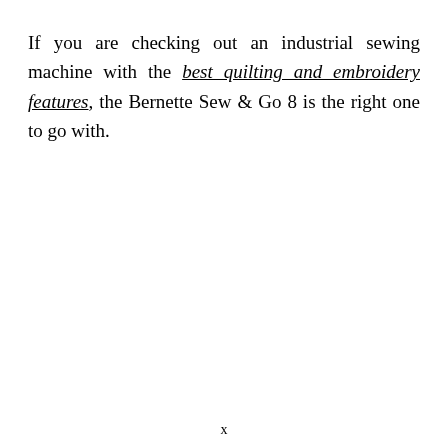If you are checking out an industrial sewing machine with the best quilting and embroidery features, the Bernette Sew & Go 8 is the right one to go with.
x